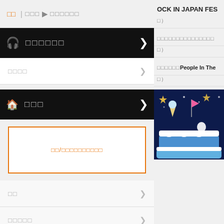□□ | □□□ ▶ □□□□□□
□□□□
□□□
□□/□□□□□□□□□□
□□
□□□□□
LiveFans PUSH!
□□□□□□□□
□□□□
□□□□
OCK IN JAPAN FES
□□□□□□□□□□□□□□□
□□□□□□People In The
[Figure (photo): Birthday cake with space theme, stars and ice cream cone decorations on dark blue background]